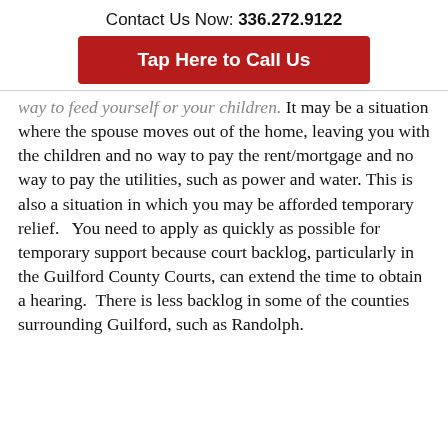Contact Us Now: 336.272.9122
Tap Here to Call Us
way to feed yourself or your children. It may be a situation where the spouse moves out of the home, leaving you with the children and no way to pay the rent/mortgage and no way to pay the utilities, such as power and water. This is also a situation in which you may be afforded temporary relief.   You need to apply as quickly as possible for temporary support because court backlog, particularly in the Guilford County Courts, can extend the time to obtain a hearing.  There is less backlog in some of the counties surrounding Guilford, such as Randolph.